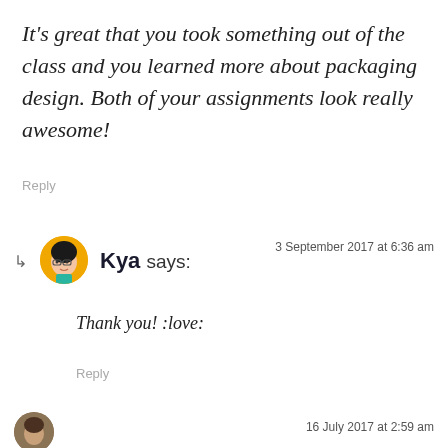It's great that you took something out of the class and you learned more about packaging design. Both of your assignments look really awesome!
Reply
Kya says:
3 September 2017 at 6:36 am
Thank you! :love:
Reply
16 July 2017 at 2:59 am